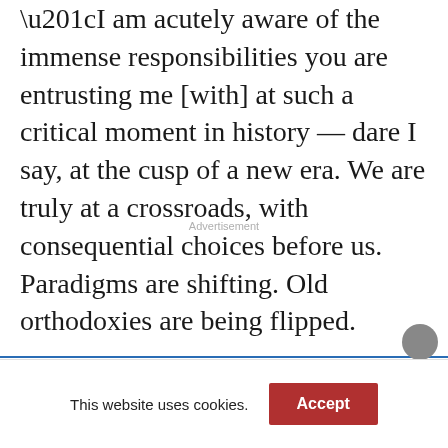“I am acutely aware of the immense responsibilities you are entrusting me [with] at such a critical moment in history — dare I say, at the cusp of a new era. We are truly at a crossroads, with consequential choices before us. Paradigms are shifting. Old orthodoxies are being flipped.
Advertisement
This website uses cookies.